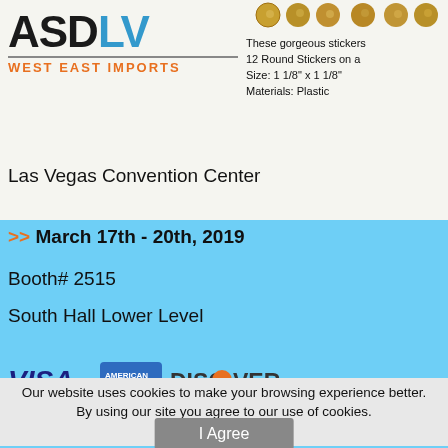[Figure (logo): ASDLV West East Imports logo with black ASD and blue LV text, orange subtitle WEST EAST IMPORTS]
[Figure (photo): Small decorative round sticker product images at top right]
These gorgeous stickers
12 Round Stickers on a
Size: 1 1/8" x 1 1/8"
Materials: Plastic
Las Vegas Convention Center
>> March 17th - 20th, 2019
Booth# 2515
South Hall Lower Level
[Figure (logo): Payment method logos: VISA, American Express, Discover, MasterCard, Google Pay, PayPal]
Our website uses cookies to make your browsing experience better. By using our site you agree to our use of cookies. Learn More
I Agree